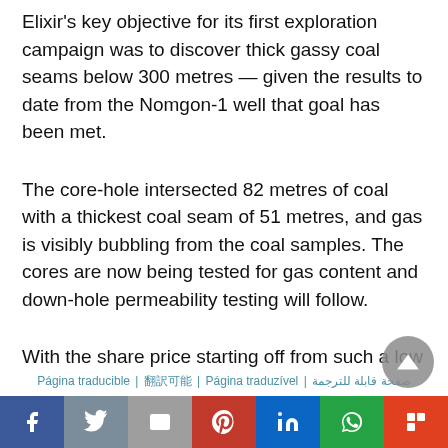Elixir's key objective for its first exploration campaign was to discover thick gassy coal seams below 300 metres — given the results to date from the Nomgon-1 well that goal has been met.
The core-hole intersected 82 metres of coal with a thickest coal seam of 51 metres, and gas is visibly bubbling from the coal samples. The cores are now being tested for gas content and down-hole permeability testing will follow.
With the share price starting off from such a low base in 2020, this could be an ideal entry point for investors. Elixir says its first results from
Página traducible | 翻訳可能 | Página traduzível | صفحة قابلة للترجمة
[Figure (infographic): Social media sharing bar with icons for Facebook, Twitter, Email, Pinterest, LinkedIn, WhatsApp, and Flipboard]